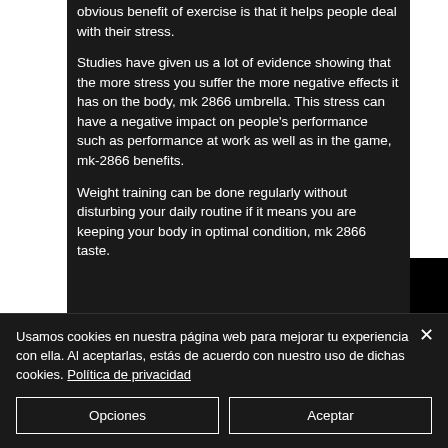obvious benefit of exercise is that it helps people deal with their stress.
Studies have given us a lot of evidence showing that the more stress you suffer the more negative effects it has on the body, mk 2866 umbrella. This stress can have a negative impact on people's performance such as performance at work as well as in the game, mk-2866 benefits.
Weight training can be done regularly without disturbing your daily routine if it means you are keeping your body in optimal condition, mk 2866 taste.
Usamos cookies en nuestra página web para mejorar tu experiencia con ella. Al aceptarlas, estás de acuerdo con nuestro uso de dichas cookies. Política de privacidad
Opciones
Aceptar